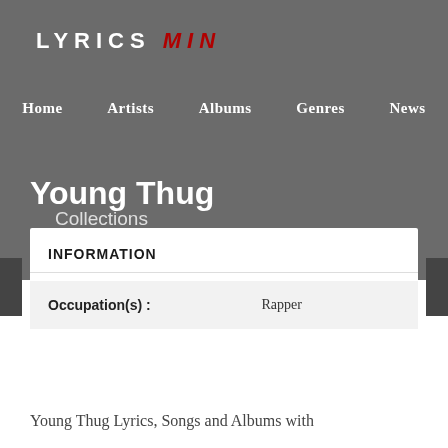LYRICS MIN
Home   Artists   Albums   Genres   News
Young Thug
Collections
INFORMATION
|  |  |
| --- | --- |
| Occupation(s) : | Rapper |
Young Thug Lyrics, Songs and Albums with